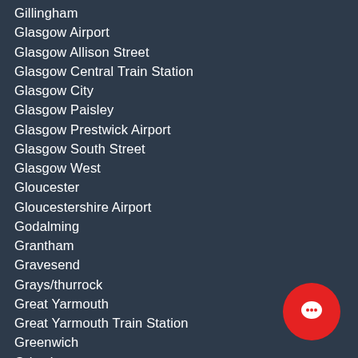Gillingham
Glasgow Airport
Glasgow Allison Street
Glasgow Central Train Station
Glasgow City
Glasgow Paisley
Glasgow Prestwick Airport
Glasgow South Street
Glasgow West
Gloucester
Gloucestershire Airport
Godalming
Grantham
Gravesend
Grays/thurrock
Great Yarmouth
Great Yarmouth Train Station
Greenwich
Grimsby
Guernsey Airport
Guernsey Harbour
Guernsey Port
Guildford
Guildford Train Station